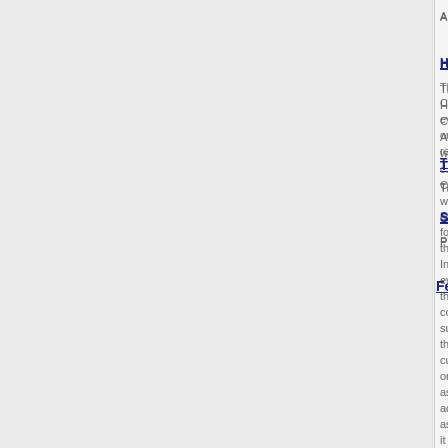A brief presentation on the current programs...
HealthFirst Connecticut Authori...
The HealthFirst Connecticut Authority was c... Connecticut, with consideration for the Insti... evidence that consistently suggests that cur... or as accessible as it should be. The reside... residents are suffering greatly under the cur...
The Urban Institute Presentatio...
The Urban Institute Presentation by Stan Do...
SustiNet Health Partnership Ap...
Presentations from the SustiNet Health Part...
Federal Reform
National Healthcare Reform Res...
This page contains links to and short descrip...
Healthcare Forum
OHA, OSC and Consumer Advocates to Pre...
Sebelius Announces New $250 ...
(Obama) Administration Investments Will He...
Notable Seminars
A Time For Change: Restructuri...
A Time For Change: Restructuring America's...